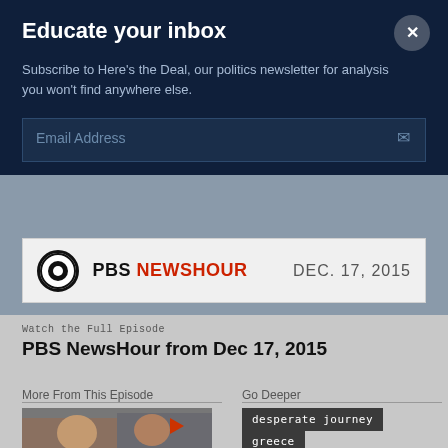Educate your inbox
Subscribe to Here's the Deal, our politics newsletter for analysis you won't find anywhere else.
Email Address
[Figure (screenshot): PBS NewsHour video banner showing the PBS logo and date DEC. 17, 2015 on a light gray background]
Watch the Full Episode
PBS NewsHour from Dec 17, 2015
More From This Episode
Go Deeper
[Figure (photo): Thumbnail photo of two people, a woman and a man with glasses, with a red play button overlay]
desperate journey
greece